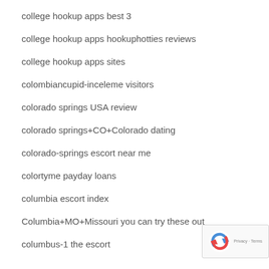college hookup apps best 3
college hookup apps hookuphotties reviews
college hookup apps sites
colombiancupid-inceleme visitors
colorado springs USA review
colorado springs+CO+Colorado dating
colorado-springs escort near me
colortyme payday loans
columbia escort index
Columbia+MO+Missouri you can try these out
columbus-1 the escort